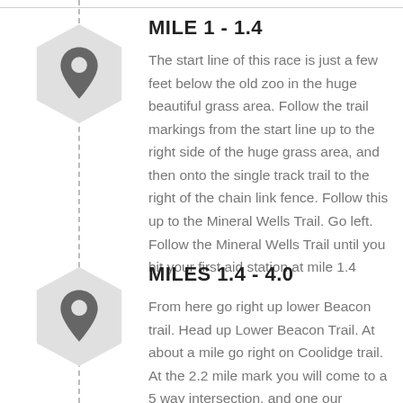[Figure (infographic): Hexagon map pin icon for Mile 1-1.4 section, light gray hexagon with dark gray map pin symbol]
MILE 1 - 1.4
The start line of this race is just a few feet below the old zoo in the huge beautiful grass area. Follow the trail markings from the start line up to the right side of the huge grass area, and then onto the single track trail to the right of the chain link fence. Follow this up to the Mineral Wells Trail. Go left. Follow the Mineral Wells Trail until you hit your first aid station at mile 1.4
[Figure (infographic): Hexagon map pin icon for Miles 1.4-4.0 section, light gray hexagon with dark gray map pin symbol]
MILES 1.4 - 4.0
From here go right up lower Beacon trail. Head up Lower Beacon Trail. At about a mile go right on Coolidge trail. At the 2.2 mile mark you will come to a 5 way intersection, and one our volunteers. He will direct you to...